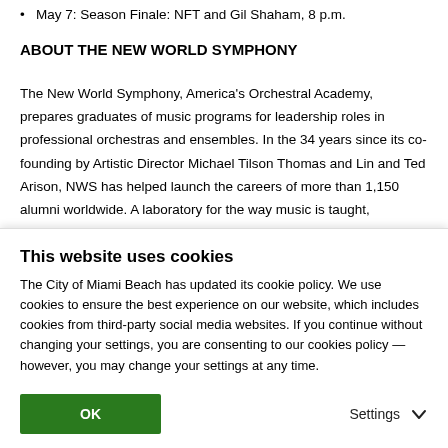May 7: Season Finale: NFT and Gil Shaham, 8 p.m.
ABOUT THE NEW WORLD SYMPHONY
The New World Symphony, America's Orchestral Academy, prepares graduates of music programs for leadership roles in professional orchestras and ensembles. In the 34 years since its co-founding by Artistic Director Michael Tilson Thomas and Lin and Ted Arison, NWS has helped launch the careers of more than 1,150 alumni worldwide. A laboratory for the way music is taught, presented and experienced, the New World Symphony consists of young
This website uses cookies
The City of Miami Beach has updated its cookie policy. We use cookies to ensure the best experience on our website, which includes cookies from third-party social media websites. If you continue without changing your settings, you are consenting to our cookies policy — however, you may change your settings at any time.